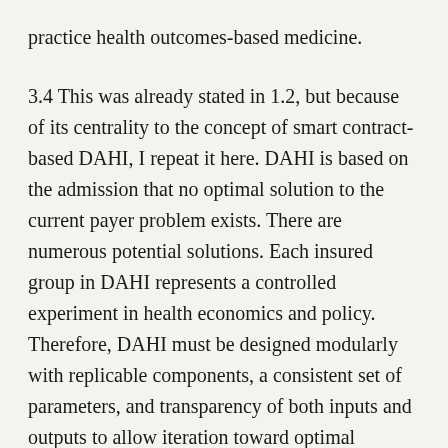practice health outcomes-based medicine.
3.4 This was already stated in 1.2, but because of its centrality to the concept of smart contract-based DAHI, I repeat it here. DAHI is based on the admission that no optimal solution to the current payer problem exists. There are numerous potential solutions. Each insured group in DAHI represents a controlled experiment in health economics and policy. Therefore, DAHI must be designed modularly with replicable components, a consistent set of parameters, and transparency of both inputs and outputs to allow iteration toward optimal parameter sets.